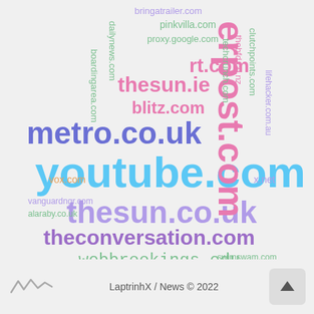[Figure (infographic): Word cloud of news website domains, with youtube.com being the largest word, followed by thesun.co.uk, metro.co.uk, theconversation.com, webbrookings.edu, and many smaller domain names in various colors including pink, green, purple, teal, and orange.]
LaptrinhX / News © 2022